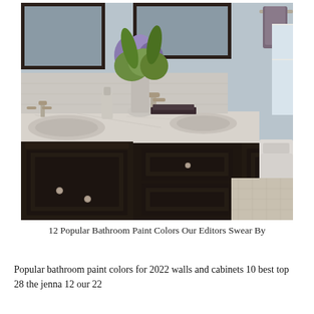[Figure (photo): A bathroom with dark espresso-stained wood vanity cabinets, light stone countertop with two undermount sinks, brushed nickel faucets, a vase of purple and green hydrangeas, a dark-framed mirror, and a toilet visible on the right side.]
12 Popular Bathroom Paint Colors Our Editors Swear By
Popular bathroom paint colors for 2022 walls and cabinets 10 best top 28 the jenna 12 our 22